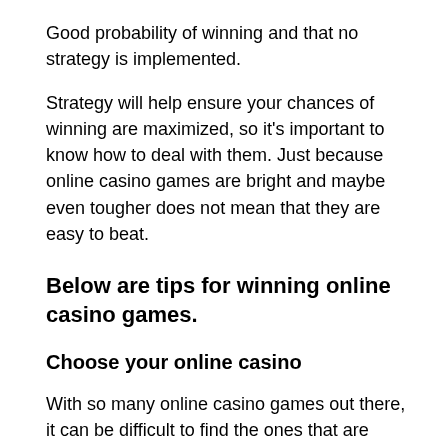Good probability of winning and that no strategy is implemented.
Strategy will help ensure your chances of winning are maximized, so it's important to know how to deal with them. Just because online casino games are bright and maybe even tougher does not mean that they are easy to beat.
Below are tips for winning online casino games.
Choose your online casino
With so many online casino games out there, it can be difficult to find the ones that are legitimate to play. What are legal casinos? This is one that offers a fairer chance of winning as well as pays out quickly when you win the